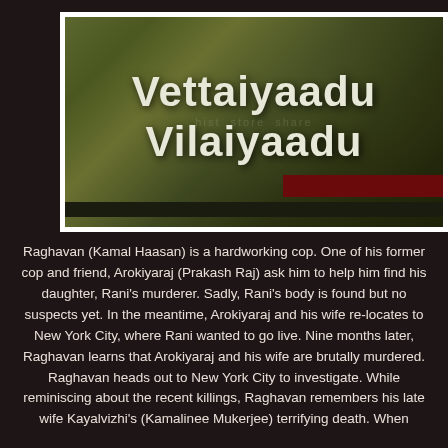[Figure (photo): Movie title card for 'Vettaiyaadu Vilaiyaadu' — dark olive/green textured background with white bold title text in two lines, a dark red bar at bottom right, and a faint watermark reading 'hist store share']
Raghavan (Kamal Haasan) is a hardworking cop. One of his former cop and friend, Arokiyaraj (Prakash Raj) ask him to help him find his daughter, Rani's murderer. Sadly, Rani's body is found but no suspects yet. In the meantime, Arokiyaraj and his wife re-locates to New York City, where Rani wanted to go live. Nine months later, Raghavan learns that Arokiyaraj and his wife are brutally murdered. Raghavan heads out to New York City to investigate. While reminiscing about the recent killings, Raghavan remembers his late wife Kayalvizhi's (Kamalinee Mukerjee) terrifying death. When